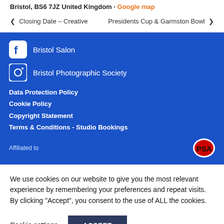Bristol, BS6 7JZ United Kingdom · Google map
< Closing Date – Creative
Presidents Cup & Garmston Bowl >
Bristol Salon (Facebook)
Bristol Photographic Society (Instagram)
Data Protection Policy
Cookie Policy
Copyright Statement
Terms & Conditions - Studio Bookings
Affiliated to
We use cookies on our website to give you the most relevant experience by remembering your preferences and repeat visits. By clicking “Accept”, you consent to the use of ALL the cookies.
Cookie settings   ACCEPT